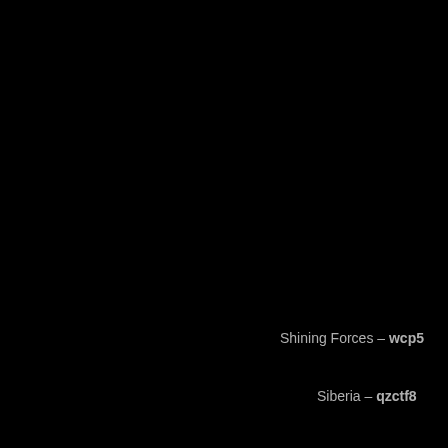Shining Forces – wcp5
Siberia – qzctf8